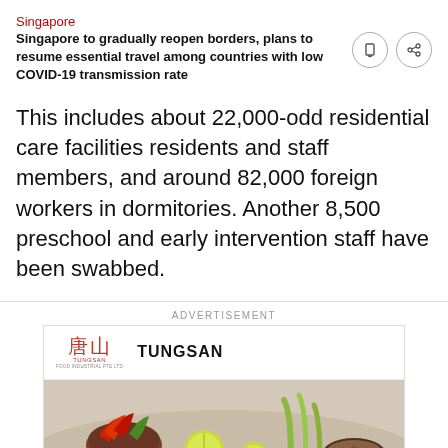Singapore
Singapore to gradually reopen borders, plans to resume essential travel among countries with low COVID-19 transmission rate
This includes about 22,000-odd residential care facilities residents and staff members, and around 82,000 foreign workers in dormitories. Another 8,500 preschool and early intervention staff have been swabbed.
ADVERTISEMENT
[Figure (logo): Tungsan advertisement with Chinese characters 唐山 logo and food photo showing chili peppers, lime slices, lemongrass and spices]